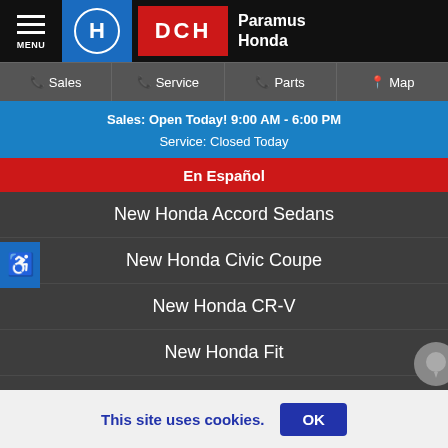[Figure (screenshot): DCH Paramus Honda dealership website mobile navigation menu showing header with Honda and DCH logos, navigation links for Sales, Service, Parts, Map, hours information, En Espanol link, and list of vehicle model links]
MENU | HONDA | DCH | Paramus Honda
Sales | Service | Parts | Map
Sales: Open Today! 9:00 AM - 6:00 PM
Service: Closed Today
En Español
New Honda Accord Sedans
New Honda Civic Coupe
New Honda CR-V
New Honda Fit
Used Honda CR-V
Used Honda Fit
Used Honda Odyssey
This site uses cookies.
OK